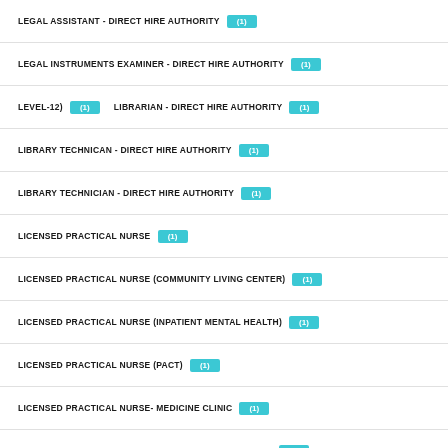LEGAL ASSISTANT - DIRECT HIRE AUTHORITY (1)
LEGAL INSTRUMENTS EXAMINER - DIRECT HIRE AUTHORITY (1)
LEVEL-12) (1)   LIBRARIAN - DIRECT HIRE AUTHORITY (1)
LIBRARY TECHNICAN - DIRECT HIRE AUTHORITY (1)
LIBRARY TECHNICIAN - DIRECT HIRE AUTHORITY (1)
LICENSED PRACTICAL NURSE (1)
LICENSED PRACTICAL NURSE (COMMUNITY LIVING CENTER) (1)
LICENSED PRACTICAL NURSE (INPATIENT MENTAL HEALTH) (1)
LICENSED PRACTICAL NURSE (PACT) (1)
LICENSED PRACTICAL NURSE- MEDICINE CLINIC (1)
LICENSED PROFESSIONAL MENTAL HEALTH COUNSELOR (1)
LICENSED VOCATIONAL NURSE (1)
LICENSED VOCATIONAL NURSE (INTERMITTENT) (1)